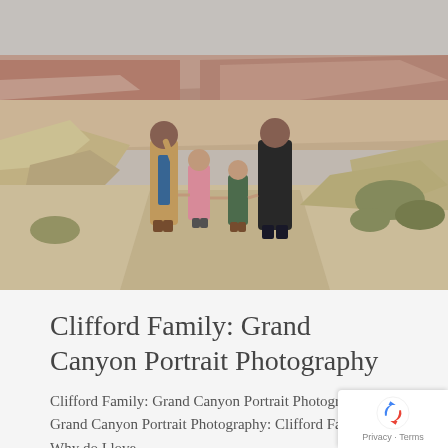[Figure (photo): Family of four — a mother, father, and two young children — standing on a rocky overlook at the Grand Canyon. The mother is in a tan coat and blue dress, one child wears a pink jacket, the other a green jacket, and the father wears a dark coat. The Grand Canyon's layered red-rock formations and sparse desert vegetation are visible in the background under an overcast sky.]
Clifford Family: Grand Canyon Portrait Photography
Clifford Family: Grand Canyon Portrait Photography Grand Canyon Portrait Photography: Clifford Family. Why do I love